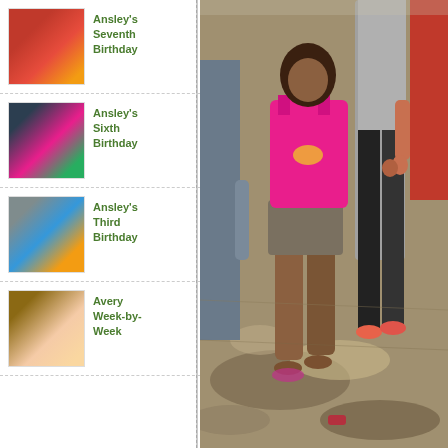[Figure (photo): Thumbnail of Ansley's Seventh Birthday - red party decorations]
Ansley's Seventh Birthday
[Figure (photo): Thumbnail of Ansley's Sixth Birthday - girl holding toy]
Ansley's Sixth Birthday
[Figure (photo): Thumbnail of Ansley's Third Birthday - group of women outdoors]
Ansley's Third Birthday
[Figure (photo): Thumbnail of Avery Week-by-Week - baby smiling]
Avery Week-by-Week
[Figure (photo): Large photo of a child in pink tank top and shorts standing outdoors with adults, from behind/side angle]